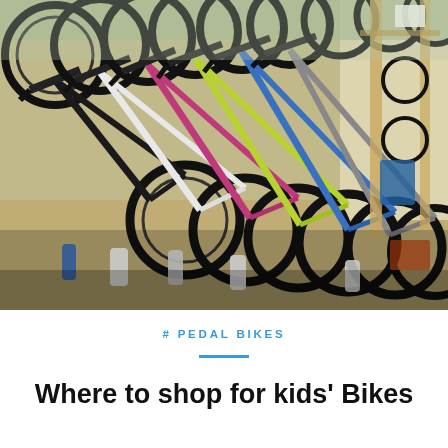[Figure (photo): Photo of multiple children's bicycles displayed on a rack in a bike shop, showing colorful bikes with handlebars and wheels visible from the front, arranged in a row]
# PEDAL BIKES
Where to shop for kids' Bikes